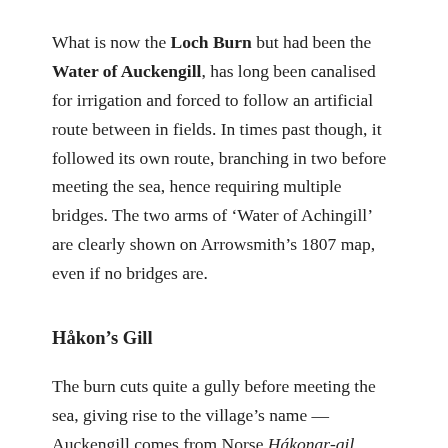What is now the Loch Burn but had been the Water of Auckengill, has long been canalised for irrigation and forced to follow an artificial route between in fields. In times past though, it followed its own route, branching in two before meeting the sea, hence requiring multiple bridges. The two arms of ‘Water of Achingill’ are clearly shown on Arrowsmith’s 1807 map, even if no bridges are.
Håkon’s Gill
The burn cuts quite a gully before meeting the sea, giving rise to the village’s name — Auckengill comes from Norse Hákonar-gil,